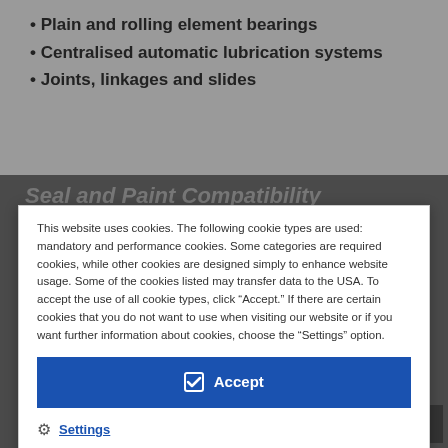• Plain and rolling element bearings
• Centralised automatic lubrication systems
• Joints, linkages and slides
Seal and Paint Compatibility
Handling and Storage
This website uses cookies. The following cookie types are used: mandatory and performance cookies. Some categories are required cookies, while other cookies are designed simply to enhance website usage. Some of the cookies listed may transfer data to the USA. To accept the use of all cookie types, click “Accept.” If there are certain cookies that you do not want to use when visiting our website or if you want further information about cookies, choose the “Settings” option.
Accept
Settings
Data Privacy
Cookie Policy